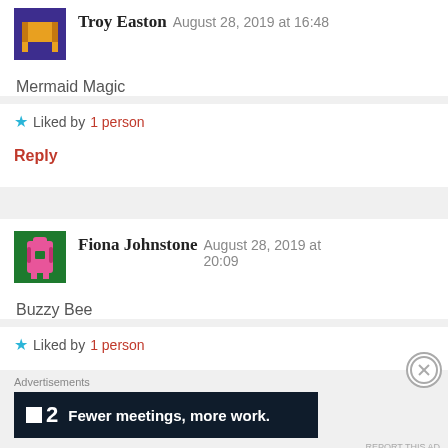[Figure (illustration): Pixel art avatar of Troy Easton — gold/yellow furniture icon on purple background]
Troy Easton   August 28, 2019 at 16:48
Mermaid Magic
★ Liked by 1 person
Reply
[Figure (illustration): Pixel art avatar of Fiona Johnstone — pink backpack icon on green background]
Fiona Johnstone   August 28, 2019 at 20:09
Buzzy Bee
★ Liked by 1 person
Advertisements
[Figure (screenshot): Dark advertisement banner: Fewer meetings, more work. with a P2 logo]